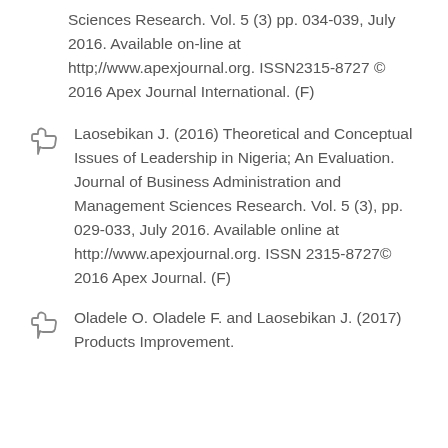Sciences Research. Vol. 5 (3) pp. 034-039, July 2016. Available on-line at http;//www.apexjournal.org. ISSN2315-8727 © 2016 Apex Journal International. (F)
Laosebikan J. (2016) Theoretical and Conceptual Issues of Leadership in Nigeria; An Evaluation. Journal of Business Administration and Management Sciences Research. Vol. 5 (3), pp. 029-033, July 2016. Available online at http://www.apexjournal.org. ISSN 2315-8727© 2016 Apex Journal. (F)
Oladele O. Oladele F. and Laosebikan J. (2017) Products Improvement.